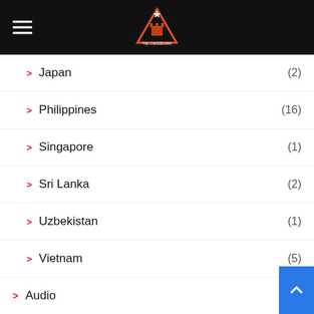The Chessboard (navigation header with logo)
Japan (2)
Philippines (16)
Singapore (1)
Sri Lanka (2)
Uzbekistan (1)
Vietnam (5)
Audio (10)
Caribbean (263)
Antigua & Barbuda (1)
Bahamas (15)
Barbados (21)
Cayman Islands
Cuba (25)